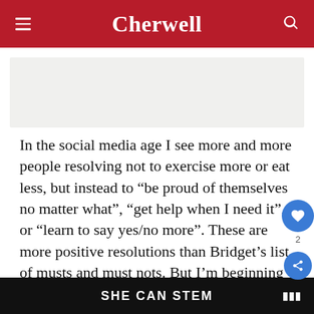Cherwell
[Figure (other): Advertisement placeholder banner (light grey rectangle)]
In the social media age I see more and more people resolving not to exercise more or eat less, but instead to “be proud of themselves no matter what”, “get help when I need it”, or “learn to say yes/no more”. These are more positive resolutions than Bridget’s list of musts and must nots. But I’m beginning to realise the arbitrariness of it all: why does it have to be ‘New Year, New Me’? Why, if you want to do something, can’t you just decide to start at any time? The
[Figure (other): Bottom advertisement banner with text SHE CAN STEM on dark background]